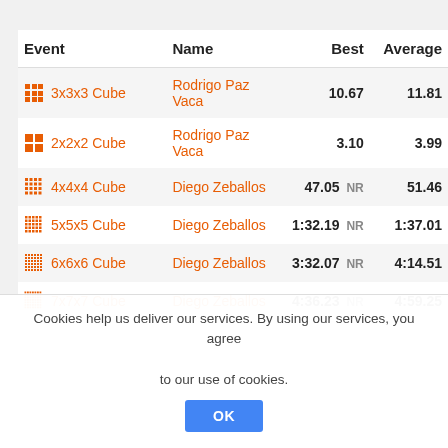| Event | Name | Best | Average |
| --- | --- | --- | --- |
| 3x3x3 Cube | Rodrigo Paz Vaca | 10.67 | 11.81 |
| 2x2x2 Cube | Rodrigo Paz Vaca | 3.10 | 3.99 |
| 4x4x4 Cube | Diego Zeballos | 47.05 NR | 51.46 |
| 5x5x5 Cube | Diego Zeballos | 1:32.19 NR | 1:37.01 |
| 6x6x6 Cube | Diego Zeballos | 3:32.07 NR | 4:14.51 |
| 7x7x7 Cube | Diego Zeballos | 4:36.23 NR | 4:59.25 |
| 3x3x3 Blindfolded | Natán Riggenbach | 1:18.85 | DNF |
| 3x3x3 One-Handed | Rodrigo Paz Vaca | 20.82 NR | 23.82 |
| Pyraminx | Diego Zeballos | 6.10 NR | 8.74 |
| Skewb | Luis Sarmiento | 11.53 | 13.52 |
Cookies help us deliver our services. By using our services, you agree to our use of cookies.